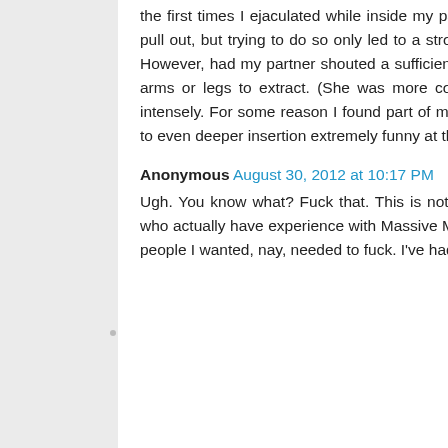the first times I ejaculated while inside my partner I temporarily lost control of my lower torso. I wanted to pull out, but trying to do so only led to a stronger forward thrust, at least for the first three or so attempts. However, had my partner shouted a sufficiently urgent 'stop', I think I would still have been able to use my arms or legs to extract. (She was more concerned about me and why I suddenly started laughing so intensely. For some reason I found part of my body disobeying me and a command to extract only leading to even deeper insertion extremely funny at the time.)
Anonymous August 30, 2012 at 10:17 PM
Ugh. You know what? Fuck that. This is not an academic exercise: there are plenty of men posting here who actually have experience with Massive Male Horniness. I have been incredibly horny, I've drooled over people I wanted, nay, needed to fuck. I've had (consensual) sex that